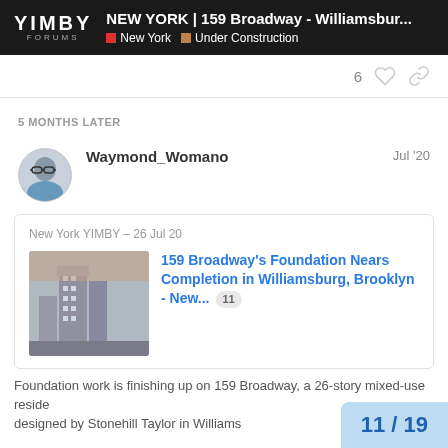YIMBY FORUMS | NEW YORK | 159 Broadway - Williamsbur... | New York | Under Construction
6 [likes] [link]
5 MONTHS LATER
Waymond_Womano    Jul '20
New York YIMBY – 26 Jul 20
159 Broadway's Foundation Nears Completion in Williamsburg, Brooklyn - New... 11
Foundation work is finishing up on 159 Broadway, a 26-story mixed-use reside designed by Stonehill Taylor in Williams
11 / 19